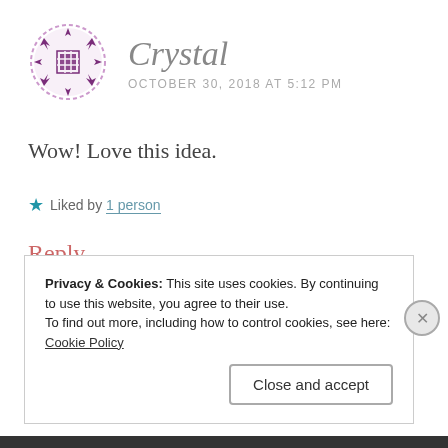[Figure (illustration): Purple decorative circular avatar with snowflake/cross pattern and dashed border]
Crystal
OCTOBER 30, 2018 AT 5:12 PM
Wow! Love this idea.
★ Liked by 1 person
Reply
Privacy & Cookies: This site uses cookies. By continuing to use this website, you agree to their use.
To find out more, including how to control cookies, see here: Cookie Policy
Close and accept